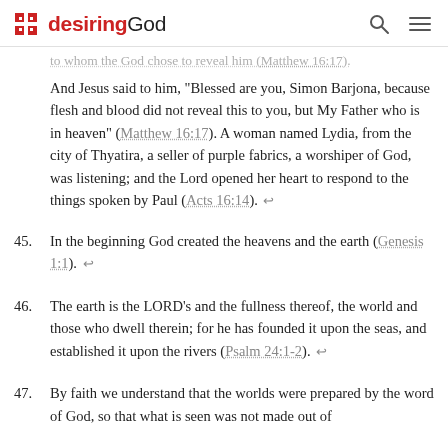desiringGod
to whom the God chose to reveal him (Matthew 16:17). And Jesus said to him, “Blessed are you, Simon Barjona, because flesh and blood did not reveal this to you, but My Father who is in heaven” (Matthew 16:17). A woman named Lydia, from the city of Thyatira, a seller of purple fabrics, a worshiper of God, was listening; and the Lord opened her heart to respond to the things spoken by Paul (Acts 16:14). ←
45. In the beginning God created the heavens and the earth (Genesis 1:1). ←
46. The earth is the LORD’s and the fullness thereof, the world and those who dwell therein; for he has founded it upon the seas, and established it upon the rivers (Psalm 24:1-2). ←
47. By faith we understand that the worlds were prepared by the word of God, so that what is seen was not made out of